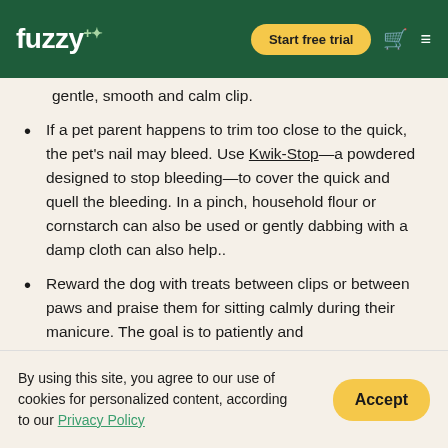fuzzy+ | Start free trial
gentle, smooth and calm clip.
If a pet parent happens to trim too close to the quick, the pet's nail may bleed. Use Kwik-Stop—a powdered designed to stop bleeding—to cover the quick and quell the bleeding. In a pinch, household flour or cornstarch can also be used or gently dabbing with a damp cloth can also help..
Reward the dog with treats between clips or between paws and praise them for sitting calmly during their manicure. The goal is to patiently and
By using this site, you agree to our use of cookies for personalized content, according to our Privacy Policy